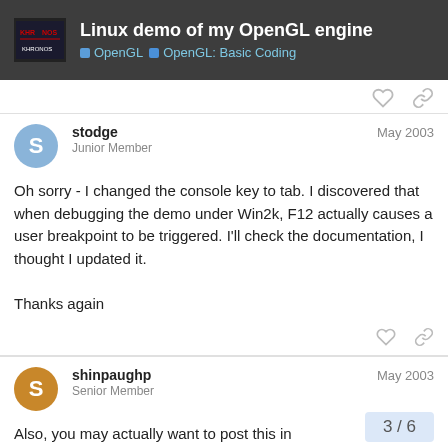Linux demo of my OpenGL engine | OpenGL | OpenGL: Basic Coding
Oh sorry - I changed the console key to tab. I discovered that when debugging the demo under Win2k, F12 actually causes a user breakpoint to be triggered. I'll check the documentation, I thought I updated it.

Thanks again
stodge
Junior Member
May 2003
shinpaughp
Senior Member
May 2003
Also, you may actually want to post this in
3 / 6